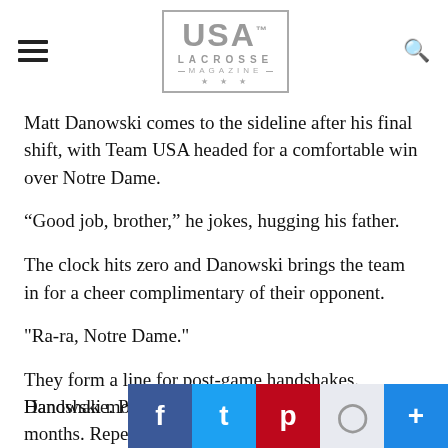USA Lacrosse Magazine
Matt Danowski comes to the sideline after his final shift, with Team USA headed for a comfortable win over Notre Dame.
“Good job, brother,” he jokes, hugging his father.
The clock hits zero and Danowski brings the team in for a cheer complimentary of their opponent.
"Ra-ra, Notre Dame."
They form a line for post-game handshakes. Danowski moves to the back.
Handshake. Pat on the back. Gre... months. Repeat.